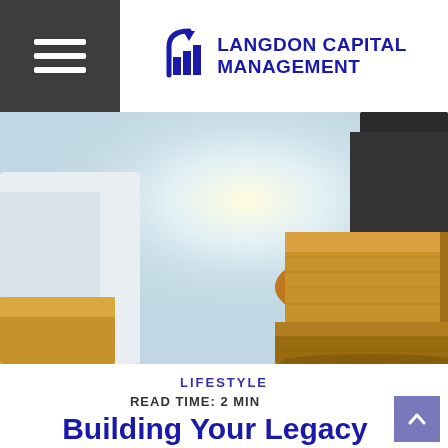Langdon Capital Management
[Figure (photo): A hand in a business suit placing a wooden block on top of stacked wooden blocks, with a blurred light-blue office background]
LIFESTYLE
READ TIME: 2 MIN
Building Your Legacy